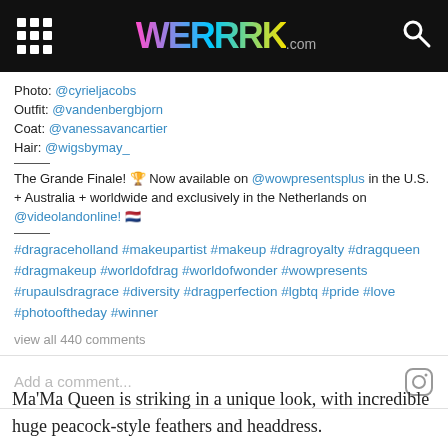WERRRK.com
Photo: @cyrieljacobs
Outfit: @vandenbergbjorn
Coat: @vanessavancartier
Hair: @wigsbymay_

The Grande Finale! 🏆 Now available on @wowpresentsplus in the U.S. + Australia + worldwide and exclusively in the Netherlands on @videolandonline! 🇳🇱

#dragraceholland #makeupartist #makeup #dragroyalty #dragqueen #dragmakeup #worldofdrag #worldofwonder #wowpresents #rupaulsdragrace #diversity #dragperfection #lgbtq #pride #love #photooftheday #winner
view all 440 comments
Add a comment...
Ma'Ma Queen is striking in a unique look, with incredible huge peacock-style feathers and headdress.